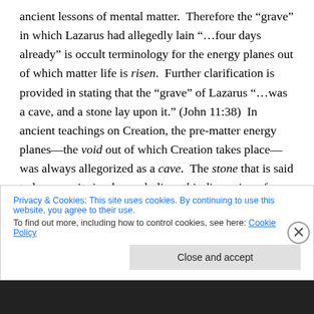ancient lessons of mental matter.  Therefore the “grave” in which Lazarus had allegedly lain “…four days already” is occult terminology for the energy planes out of which matter life is risen.  Further clarification is provided in stating that the “grave” of Lazarus “…was a cave, and a stone lay upon it.” (John 11:38)  In ancient teachings on Creation, the pre-matter energy planes—the void out of which Creation takes place—was always allegorized as a cave.  The stone that is said to lay upon it simply symbolizes this dimension of Creation activity that we
Privacy & Cookies: This site uses cookies. By continuing to use this website, you agree to their use.
To find out more, including how to control cookies, see here: Cookie Policy
Close and accept